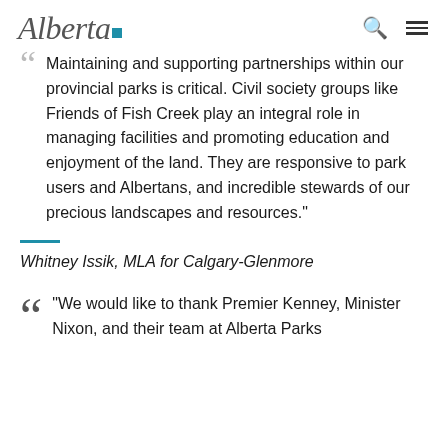Alberta [logo]
Maintaining and supporting partnerships within our provincial parks is critical. Civil society groups like Friends of Fish Creek play an integral role in managing facilities and promoting education and enjoyment of the land. They are responsive to park users and Albertans, and incredible stewards of our precious landscapes and resources."
Whitney Issik, MLA for Calgary-Glenmore
"We would like to thank Premier Kenney, Minister Nixon, and their team at Alberta Parks